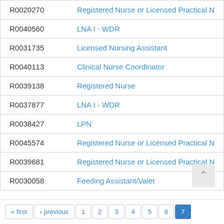| Code | Title |
| --- | --- |
| R0020270 | Registered Nurse or Licensed Practical N |
| R0040560 | LNA I - WDR |
| R0031735 | Licensed Nursing Assistant |
| R0040113 | Clinical Nurse Coordinator |
| R0039138 | Registered Nurse |
| R0037877 | LNA I - WDR |
| R0038427 | LPN |
| R0045574 | Registered Nurse or Licensed Practical N |
| R0039681 | Registered Nurse or Licensed Practical N |
| R0030058 | Feeding Assistant/Valet |
« first ‹ previous 1 2 3 4 5 6 7